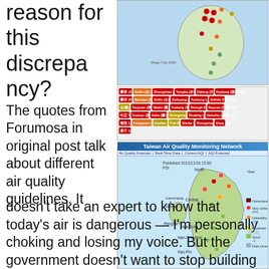reason for this discrepancy? The quotes from Forumosa in original post talk about different air quality guidelines. It doesn't take an expert to know that today's air is dangerous — I'm personally choking and losing my voice. But the government doesn't want to stop building
[Figure (screenshot): Taiwan air quality monitoring map showing colored station markers across Taiwan, with a legend showing station readings in colored badges (red/orange/yellow). Includes Taiwan Air Quality Monitoring Network website screenshot with a map of Taiwan showing air quality stations colored by category (Hazardous, Very Unhealthy, Unhealthy, Moderate, Good, Data Unavailable).]